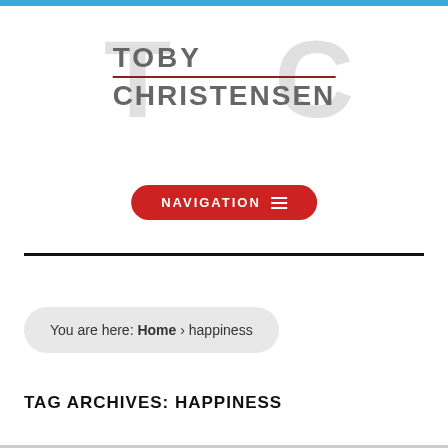[Figure (logo): Toby Christensen logo with large light gray TC letters in background and bold dark gray TOBY CHRISTENSEN text with red divider line in foreground]
[Figure (other): Red rounded pill-shaped navigation button with white text NAVIGATION and hamburger menu icon]
You are here: Home › happiness
TAG ARCHIVES: HAPPINESS